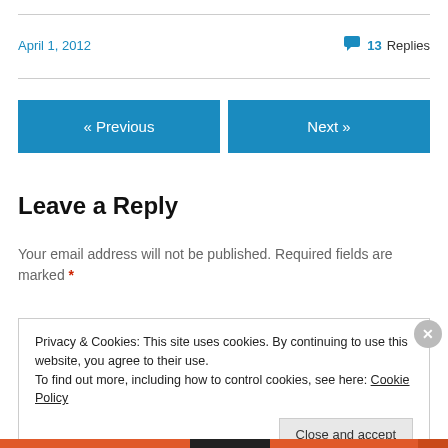April 1, 2012
💬 13 Replies
« Previous
Next »
Leave a Reply
Your email address will not be published. Required fields are marked *
Privacy & Cookies: This site uses cookies. By continuing to use this website, you agree to their use. To find out more, including how to control cookies, see here: Cookie Policy
Close and accept